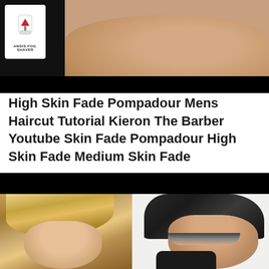[Figure (photo): Screenshot of a video thumbnail showing an Andis Foil Shaver product card on the left and the back of a man's head with a skin fade haircut on the right, against a dark background.]
High Skin Fade Pompadour Mens Haircut Tutorial Kieron The Barber Youtube Skin Fade Pompadour High Skin Fade Medium Skin Fade
[Figure (photo): Composite image showing two men's hairstyles: left - a man with highlighted, swept-back medium-length hair; right - a man with a dark spiky pompadour with a skin fade undercut, seen from the side.]